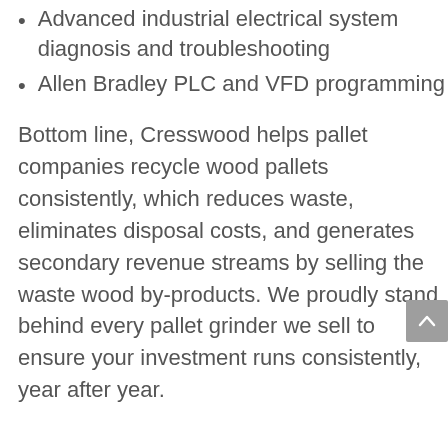Advanced industrial electrical system diagnosis and troubleshooting
Allen Bradley PLC and VFD programming
Bottom line, Cresswood helps pallet companies recycle wood pallets consistently, which reduces waste, eliminates disposal costs, and generates secondary revenue streams by selling the waste wood by-products. We proudly stand behind every pallet grinder we sell to ensure your investment runs consistently, year after year.